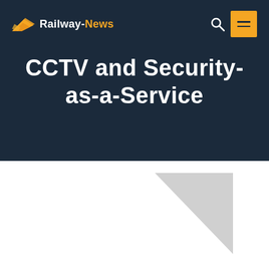Railway-News
CCTV and Security-as-a-Service
[Figure (illustration): Light grey right-pointing triangle decorative element in the lower white section of the page]